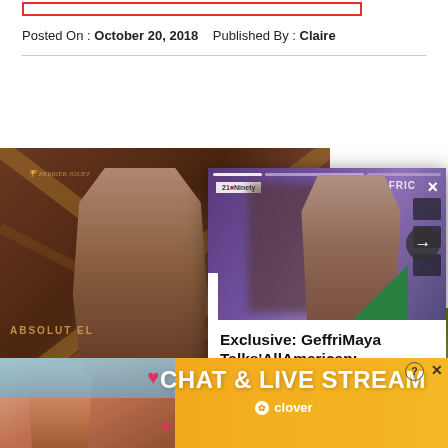[Figure (screenshot): Red-bordered rectangular element at top of page, partial UI element]
Posted On : October 20, 2018    Published By : Claire
[Figure (photo): Woman in brown satin dress at event with ABSOLUT and Perrier Jouet branding in background]
[Figure (screenshot): Popup overlay card showing woman with braids in front of purple background, with title 'Exclusive: GeffriMaya Talks AllAmerican: Homecoming' - 21Ninety, with close button and next arrow]
Exclusive: GeffriMaya Talks'AllAmerican: Homecoming'- 21Ninety
[Figure (photo): Advertisement banner with orange/yellow background showing CHAT & LIVE STREAM text with Clover branding, and photo of woman on beach with heart emojis]